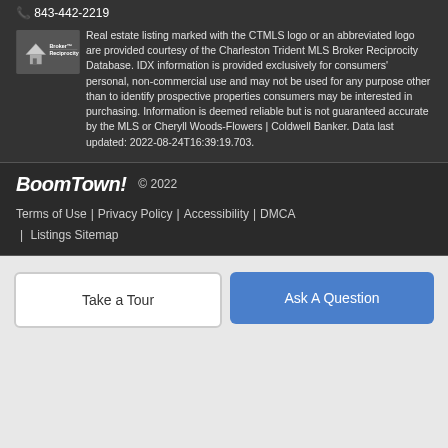843-442-2219
Real estate listing marked with the CTMLS logo or an abbreviated logo are provided courtesy of the Charleston Trident MLS Broker Reciprocity Database. IDX information is provided exclusively for consumers' personal, non-commercial use and may not be used for any purpose other than to identify prospective properties consumers may be interested in purchasing. Information is deemed reliable but is not guaranteed accurate by the MLS or Cheryll Woods-Flowers | Coldwell Banker. Data last updated: 2022-08-24T16:39:19.703.
BoomTown! © 2022 Terms of Use | Privacy Policy | Accessibility | DMCA | Listings Sitemap
Take a Tour
Ask A Question